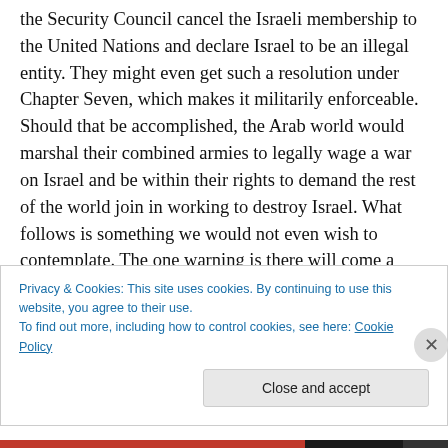the Security Council cancel the Israeli membership to the United Nations and declare Israel to be an illegal entity. They might even get such a resolution under Chapter Seven, which makes it militarily enforceable. Should that be accomplished, the Arab world would marshal their combined armies to legally wage a war on Israel and be within their rights to demand the rest of the world join in working to destroy Israel. What follows is something we would not even wish to contemplate. The one warning is there will come a day, and it may be sooner rather than later, that aid from the United States is going to end and
Privacy & Cookies: This site uses cookies. By continuing to use this website, you agree to their use.
To find out more, including how to control cookies, see here: Cookie Policy